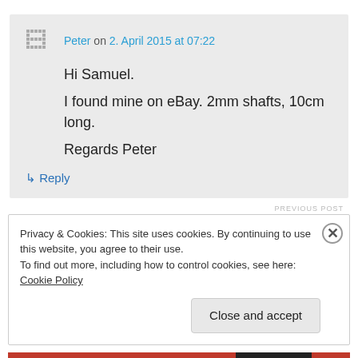Peter on 2. April 2015 at 07:22
Hi Samuel.
I found mine on eBay. 2mm shafts, 10cm long.
Regards Peter
↳ Reply
Privacy & Cookies: This site uses cookies. By continuing to use this website, you agree to their use.
To find out more, including how to control cookies, see here: Cookie Policy
Close and accept